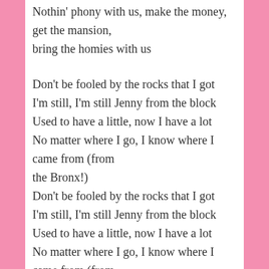Nothin' phony with us, make the money, get the mansion, bring the homies with us
Don't be fooled by the rocks that I got
I'm still, I'm still Jenny from the block
Used to have a little, now I have a lot
No matter where I go, I know where I came from (from the Bronx!)
Don't be fooled by the rocks that I got
I'm still, I'm still Jenny from the block
Used to have a little, now I have a lot
No matter where I go, I know where I came from (from the Bronx!)
From In Living Color and movie scripts
To On the 6 to J. Lo to this headline clips